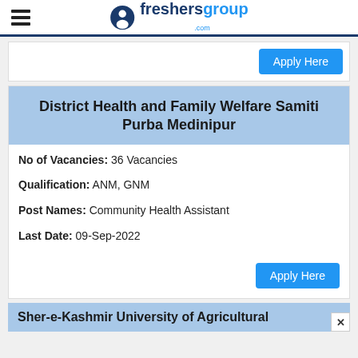freshersgroup.com
Apply Here
District Health and Family Welfare Samiti Purba Medinipur
No of Vacancies: 36 Vacancies
Qualification: ANM, GNM
Post Names: Community Health Assistant
Last Date: 09-Sep-2022
Apply Here
Sher-e-Kashmir University of Agricultural